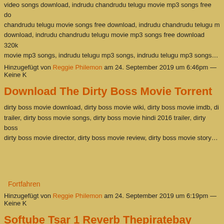video songs download, indrudu chandrudu telugu movie mp3 songs free download, chandrudu telugu movie songs free download, indrudu chandrudu telugu m... download, indrudu chandrudu telugu movie mp3 songs free download 320k... movie mp3 songs, indrudu telugu mp3 songs, indrudu telugu mp3 songs…
Hinzugefügt von Reggie Philemon am 24. September 2019 um 6:46pm — Keine K
Download The Dirty Boss Movie Torrent
dirty boss movie download, dirty boss movie wiki, dirty boss movie imdb, di... trailer, dirty boss movie songs, dirty boss movie hindi 2016 trailer, dirty boss... dirty boss movie director, dirty boss movie review, dirty boss movie story…
Fortfahren
Hinzugefügt von Reggie Philemon am 24. September 2019 um 6:19pm — Keine K
Softube Tsar 1 Reverb Thepiratebay
[Figure (other): Broken image placeholder icon]
Softube Tsar 1 Reverb Thepiratebay >>>…